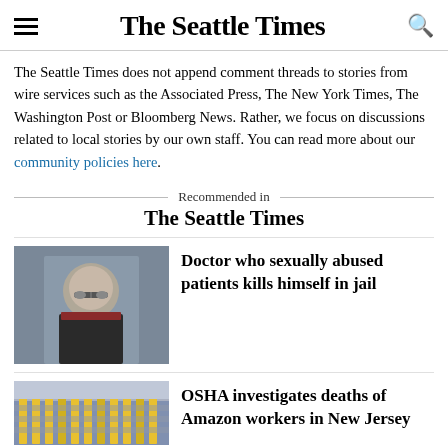The Seattle Times
The Seattle Times does not append comment threads to stories from wire services such as the Associated Press, The New York Times, The Washington Post or Bloomberg News. Rather, we focus on discussions related to local stories by our own staff. You can read more about our community policies here.
Recommended in The Seattle Times
[Figure (photo): Headshot of a middle-aged man with glasses wearing a dark suit]
Doctor who sexually abused patients kills himself in jail
[Figure (photo): Interior of an Amazon warehouse with yellow shelving racks]
OSHA investigates deaths of Amazon workers in New Jersey